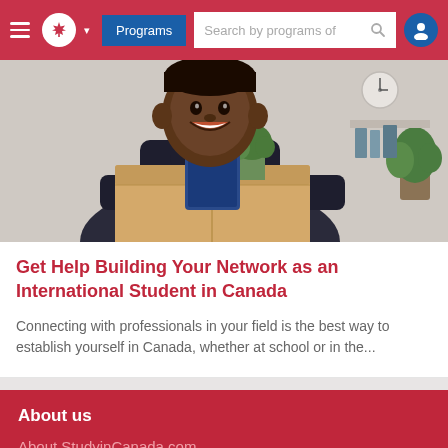Programs | Search by programs of
[Figure (photo): A smiling young Black man in a suit carrying a cardboard box with office items including a small green plant, appearing to be moving into a new workplace, with an office background]
Get Help Building Your Network as an International Student in Canada
Connecting with professionals in your field is the best way to establish yourself in Canada, whether at school or in the...
About us
About StudyinCanada.com